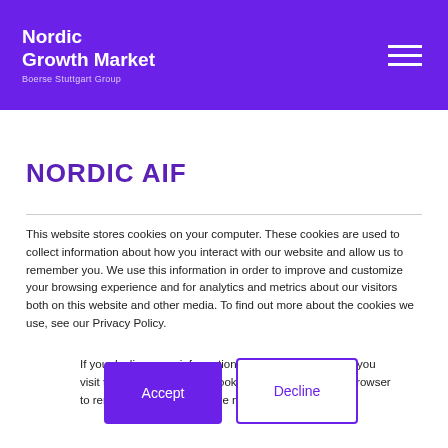Nordic Growth Market
Boerse Stuttgart Group
NORDIC AIF
This website stores cookies on your computer. These cookies are used to collect information about how you interact with our website and allow us to remember you. We use this information in order to improve and customize your browsing experience and for analytics and metrics about our visitors both on this website and other media. To find out more about the cookies we use, see our Privacy Policy.
If you decline, your information won’t be tracked when you visit this website. A single cookie will be used in your browser to remember your preference not to be tracked.
Accept
Decline